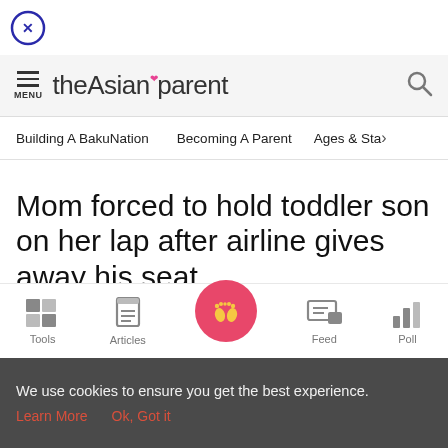[Figure (logo): Close button - circle with X]
theAsianparent
Building A BakuNation   Becoming A Parent   Ages & Sta>
Mom forced to hold toddler son on her lap after airline gives away his seat
[Figure (infographic): Bottom navigation bar with Tools, Articles, Home (pink circle with baby feet), Feed, Poll icons]
We use cookies to ensure you get the best experience.
Learn More   Ok, Got it